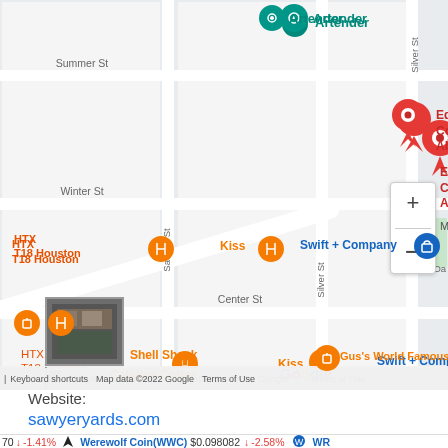[Figure (map): Google Maps screenshot showing streets in Houston, TX. Features labeled locations: Artender (teal pin, top center), Edgar Medina Contemporary Abstract... (red pin, center-top area), AGGA Gallery (teal pin, center-right), HTX T18 Houston and Kiss (orange pins, left side), Swift + Company (blue pin, center), Shell Shack and Catalina Coffee (orange pins, bottom-left), Gus's World Famous (orange pin, bottom). Street names visible: Summer St, Winter St, Center St, Sawyer St, Silver St, Sabine St. Google branding and map controls (+ and - zoom buttons) visible. Bottom bar: Keyboard shortcuts | Map data ©2022 Google | Terms of Use.]
Website:
sawyeryards.com
70 ↓ -1.41%   🐺 Werewolf Coin(WWC)   $0.098082   ↓ -2.58%   WR